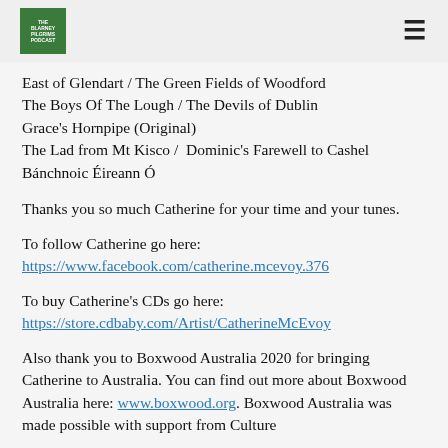The Blarney Pilgrims Podcast logo and hamburger menu
East of Glendart / The Green Fields of Woodford
The Boys Of The Lough / The Devils of Dublin
Grace's Hornpipe (Original)
The Lad from Mt Kisco /  Dominic's Farewell to Cashel
Bánchnoic Éireann Ó
Thanks you so much Catherine for your time and your tunes.
To follow Catherine go here:
https://www.facebook.com/catherine.mcevoy.376
To buy Catherine's CDs go here:
https://store.cdbaby.com/Artist/CatherineMcEvoy
Also thank you to Boxwood Australia 2020 for bringing Catherine to Australia. You can find out more about Boxwood Australia here: www.boxwood.org. Boxwood Australia was made possible with support from Culture Ireland and organisations this text would clip...